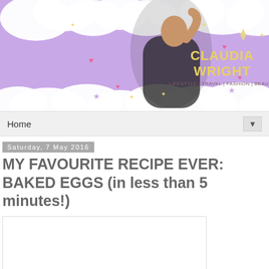[Figure (illustration): Blog header banner with purple background, clouds, decorative stars and hearts, a woman in black posing, and text 'CLAUDIA WRIGHT' with subtitle 'LIFESTYLE | TRAVEL | FASHION | BEAUTY']
Home ▼
Saturday, 7 May 2016
MY FAVOURITE RECIPE EVER: BAKED EGGS (in less than 5 minutes!)
[Figure (photo): Image placeholder (white rectangle with border) for baked eggs recipe photo]